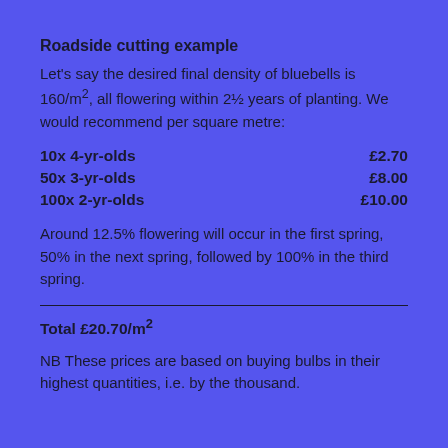Roadside cutting example
Let's say the desired final density of bluebells is 160/m², all flowering within 2½ years of planting. We would recommend per square metre:
10x 4-yr-olds   £2.70
50x 3-yr-olds   £8.00
100x 2-yr-olds   £10.00
Around 12.5% flowering will occur in the first spring, 50% in the next spring, followed by 100% in the third spring.
Total £20.70/m²
NB These prices are based on buying bulbs in their highest quantities, i.e. by the thousand.